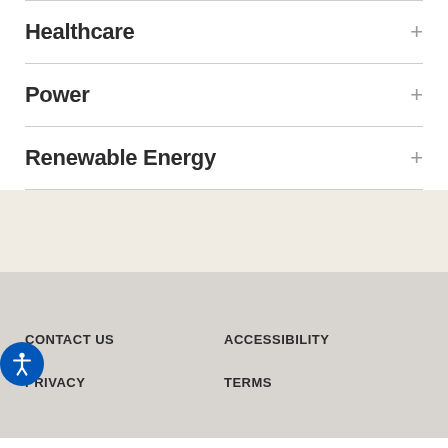Healthcare
Power
Renewable Energy
CONTACT US   ACCESSIBILITY   PRIVACY   TERMS